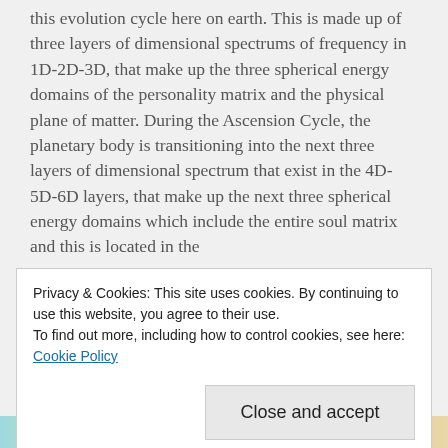this evolution cycle here on earth. This is made up of three layers of dimensional spectrums of frequency in 1D-2D-3D, that make up the three spherical energy domains of the personality matrix and the physical plane of matter. During the Ascension Cycle, the planetary body is transitioning into the next three layers of dimensional spectrum that exist in the 4D-5D-6D layers, that make up the next three spherical energy domains which include the entire soul matrix and this is located in the
Privacy & Cookies: This site uses cookies. By continuing to use this website, you agree to their use.
To find out more, including how to control cookies, see here: Cookie Policy
Close and accept
[Figure (illustration): Colorful gradient strip at the bottom of the page with soft pastel colors (teal, green, purple, pink, orange)]